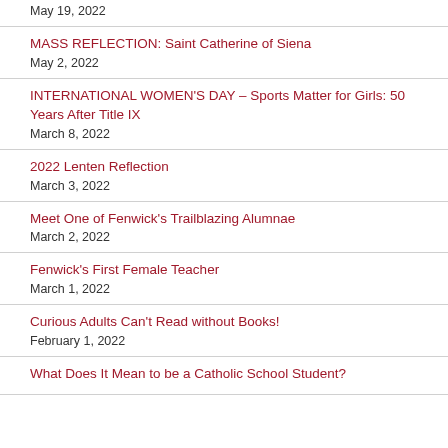May 19, 2022
MASS REFLECTION: Saint Catherine of Siena
May 2, 2022
INTERNATIONAL WOMEN'S DAY – Sports Matter for Girls: 50 Years After Title IX
March 8, 2022
2022 Lenten Reflection
March 3, 2022
Meet One of Fenwick’s Trailblazing Alumnae
March 2, 2022
Fenwick’s First Female Teacher
March 1, 2022
Curious Adults Can’t Read without Books!
February 1, 2022
What Does It Mean to be a Catholic School Student?